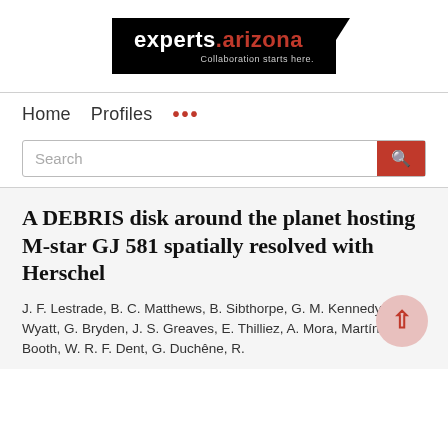[Figure (logo): experts.arizona logo — black background, white text 'experts.' followed by red '.arizona', tagline 'Collaboration starts here.']
Home   Profiles   ...
Search
A DEBRIS disk around the planet hosting M-star GJ 581 spatially resolved with Herschel
J. F. Lestrade, B. C. Matthews, B. Sibthorpe, G. M. Kennedy, M. C. Wyatt, G. Bryden, J. S. Greaves, E. Thilliez, A. Mora, Martín, M. Booth, W. R. F. Dent, G. Duchêne, R. ...